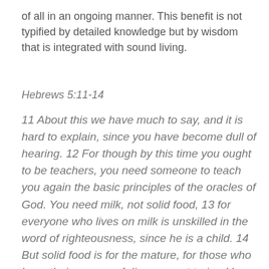of all in an ongoing manner. This benefit is not typified by detailed knowledge but by wisdom that is integrated with sound living.
Hebrews 5:11-14
11 About this we have much to say, and it is hard to explain, since you have become dull of hearing. 12 For though by this time you ought to be teachers, you need someone to teach you again the basic principles of the oracles of God. You need milk, not solid food, 13 for everyone who lives on milk is unskilled in the word of righteousness, since he is a child. 14 But solid food is for the mature, for those who have their powers of discernment trained by